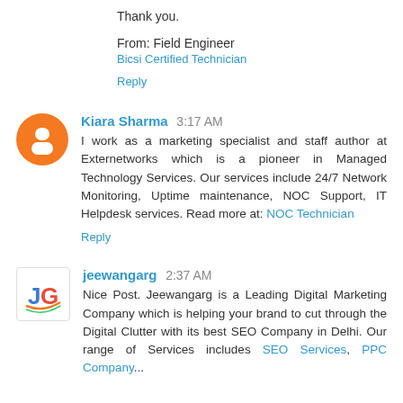Thank you.
From: Field Engineer
Bicsi Certified Technician
Reply
Kiara Sharma  3:17 AM
I work as a marketing specialist and staff author at Externetworks which is a pioneer in Managed Technology Services. Our services include 24/7 Network Monitoring, Uptime maintenance, NOC Support, IT Helpdesk services. Read more at: NOC Technician
Reply
jeewangarg  2:37 AM
Nice Post. Jeewangarg is a Leading Digital Marketing Company which is helping your brand to cut through the Digital Clutter with its best SEO Company in Delhi. Our range of Services includes SEO Services, PPC Company...